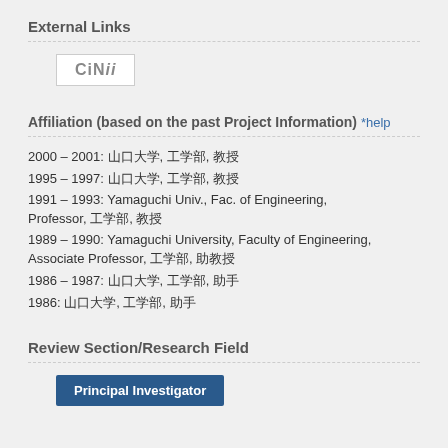External Links
[Figure (logo): CiNii logo button — white rectangle with bold italic 'CiNii' text in gray]
Affiliation (based on the past Project Information) *help
2000 – 2001: 山口大学, 工学部, 教授
1995 – 1997: 山口大学, 工学部, 教授
1991 – 1993: Yamaguchi Univ., Fac. of Engineering, Professor, 工学部, 教授
1989 – 1990: Yamaguchi University, Faculty of Engineering, Associate Professor, 工学部, 助教授
1986 – 1987: 山口大学, 工学部, 助手
1986: 山口大学, 工学部, 助手
Review Section/Research Field
Principal Investigator